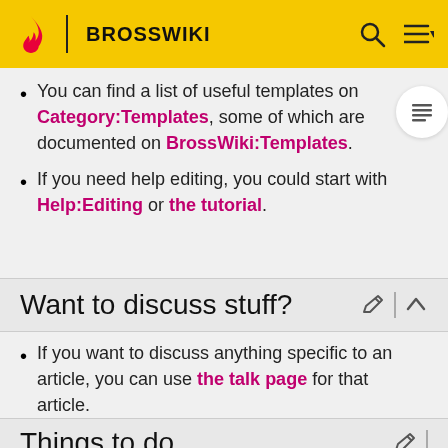BROSSWIKI
You can find a list of useful templates on Category:Templates, some of which are documented on BrossWiki:Templates.
If you need help editing, you could start with Help:Editing or the tutorial.
Want to discuss stuff?
If you want to discuss anything specific to an article, you can use the talk page for that article.
For more general discussions you can use the Discussion tab of this page, or a Forum if the forums have been set up.
Things to do